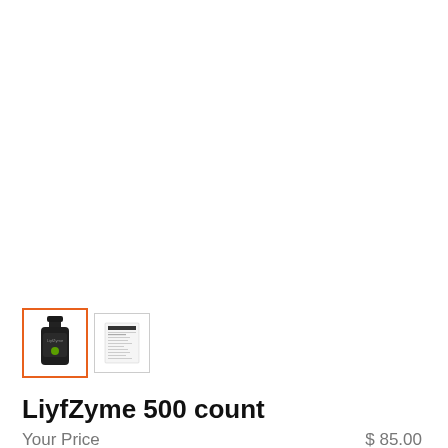[Figure (photo): Two product thumbnails: first thumbnail selected (orange border) showing a dark supplement bottle with green label (LiyfZyme), second thumbnail showing a product nutrition label]
LiyfZyme 500 count
Your Price   $ 85.00